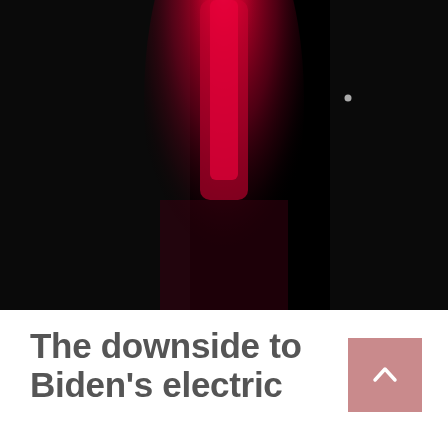[Figure (photo): Dark photograph with a blurred red/crimson vertical glowing shape in the center against a near-black background, with a small bright dot visible upper right area.]
The downside to Biden's electric